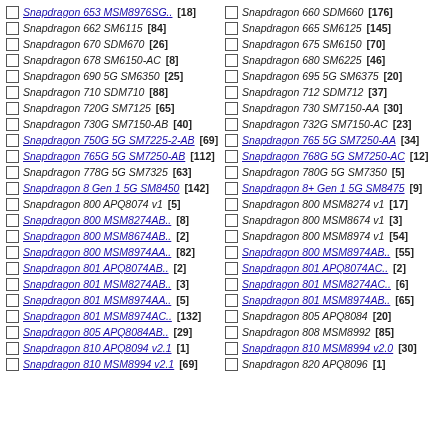Snapdragon 653 MSM8976SG.. [18]
Snapdragon 660 SDM660 [176]
Snapdragon 662 SM6115 [84]
Snapdragon 665 SM6125 [145]
Snapdragon 670 SDM670 [26]
Snapdragon 675 SM6150 [70]
Snapdragon 678 SM6150-AC [8]
Snapdragon 680 SM6225 [46]
Snapdragon 690 5G SM6350 [25]
Snapdragon 695 5G SM6375 [20]
Snapdragon 710 SDM710 [88]
Snapdragon 712 SDM712 [37]
Snapdragon 720G SM7125 [65]
Snapdragon 730 SM7150-AA [30]
Snapdragon 730G SM7150-AB [40]
Snapdragon 732G SM7150-AC [23]
Snapdragon 750G 5G SM7225-2-AB [69]
Snapdragon 765 5G SM7250-AA [34]
Snapdragon 765G 5G SM7250-AB [112]
Snapdragon 768G 5G SM7250-AC [12]
Snapdragon 778G 5G SM7325 [63]
Snapdragon 780G 5G SM7350 [5]
Snapdragon 8 Gen 1 5G SM8450 [142]
Snapdragon 8+ Gen 1 5G SM8475 [9]
Snapdragon 800 APQ8074 v1 [5]
Snapdragon 800 MSM8274 v1 [17]
Snapdragon 800 MSM8274AB.. [8]
Snapdragon 800 MSM8674 v1 [3]
Snapdragon 800 MSM8674AB.. [2]
Snapdragon 800 MSM8974 v1 [54]
Snapdragon 800 MSM8974AA.. [82]
Snapdragon 800 MSM8974AB.. [55]
Snapdragon 801 APQ8074AB.. [2]
Snapdragon 801 APQ8074AC.. [2]
Snapdragon 801 MSM8274AB.. [3]
Snapdragon 801 MSM8274AC.. [6]
Snapdragon 801 MSM8974AA.. [5]
Snapdragon 801 MSM8974AB.. [65]
Snapdragon 801 MSM8974AC.. [132]
Snapdragon 805 APQ8084 [20]
Snapdragon 805 APQ8084AB.. [29]
Snapdragon 808 MSM8992 [85]
Snapdragon 810 APQ8094 v2.1 [1]
Snapdragon 810 MSM8994 v2.0 [30]
Snapdragon 810 MSM8994 v2.1 [69]
Snapdragon 820 APQ8096 [1]